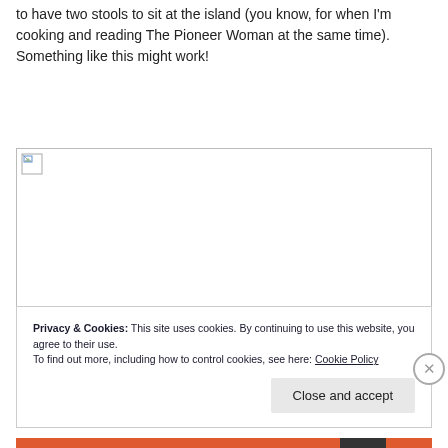to have two stools to sit at the island (you know, for when I'm cooking and reading The Pioneer Woman at the same time). Something like this might work!
[Figure (photo): Broken/missing image placeholder with small broken image icon in upper left corner]
Privacy & Cookies: This site uses cookies. By continuing to use this website, you agree to their use.
To find out more, including how to control cookies, see here: Cookie Policy